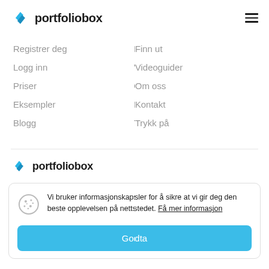portfoliobox
Registrer deg
Logg inn
Priser
Eksempler
Blogg
Finn ut
Videoguider
Om oss
Kontakt
Trykk på
[Figure (logo): Portfoliobox logo with blue diamond icon and text]
Vi bruker informasjonskapsler for å sikre at vi gir deg den beste opplevelsen på nettstedet. Få mer informasjon
Godta